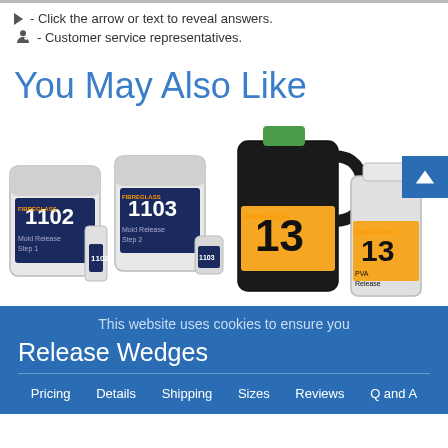▶ - Click the arrow or text to reveal answers.
👤✓ - Customer service representatives.
You May Also Like
[Figure (photo): Fibreglast product containers: tubs labeled 1102 and 1103 (Mold Release Step 1, Step 2) with smaller containers, and jugs/bottles labeled 13 PVA Release on the right side.]
This website uses cookies to ensure you
Release Wedges
Pricing   Details   Shipping   Sizes   Reviews   Q and A